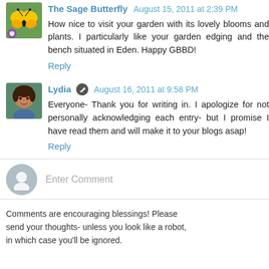The Sage Butterfly August 15, 2011 at 2:39 PM
How nice to visit your garden with its lovely blooms and plants. I particularly like your garden edging and the bench situated in Eden. Happy GBBD!
Reply
Lydia August 16, 2011 at 9:58 PM
Everyone- Thank you for writing in. I apologize for not personally acknowledging each entry- but I promise I have read them and will make it to your blogs asap!
Reply
Enter Comment
Comments are encouraging blessings! Please send your thoughts- unless you look like a robot, in which case you'll be ignored.